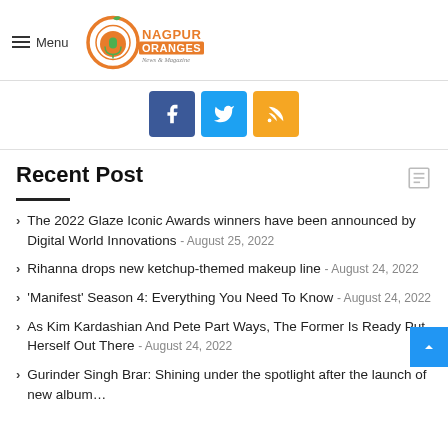Menu — Nagpur Oranges News & Magazine
[Figure (logo): Nagpur Oranges logo with orange circle and microphone icon, text 'NAGPUR ORANGES News & Magazine']
[Figure (infographic): Social media icons: Facebook (blue), Twitter (light blue), RSS (orange)]
Recent Post
The 2022 Glaze Iconic Awards winners have been announced by Digital World Innovations - August 25, 2022
Rihanna drops new ketchup-themed makeup line - August 24, 2022
'Manifest' Season 4: Everything You Need To Know - August 24, 2022
As Kim Kardashian And Pete Part Ways, The Former Is Ready Put Herself Out There - August 24, 2022
Gurinder Singh Brar: Shining under the spotlight after the launch of new album - August 17, 2022